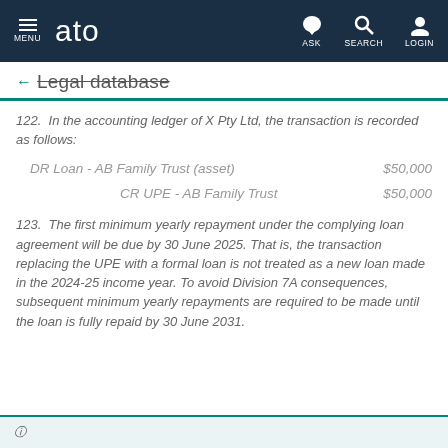ato — MENU | ASK | SEARCH | LOGIN
← Legal database
122.  In the accounting ledger of X Pty Ltd, the transaction is recorded as follows:
| Account | Amount |
| --- | --- |
| DR Loan - AB Family Trust (asset) | $50,000 |
| CR UPE - AB Family Trust | $50,000 |
123.  The first minimum yearly repayment under the complying loan agreement will be due by 30 June 2025. That is, the transaction replacing the UPE with a formal loan is not treated as a new loan made in the 2024-25 income year. To avoid Division 7A consequences, subsequent minimum yearly repayments are required to be made until the loan is fully repaid by 30 June 2031.